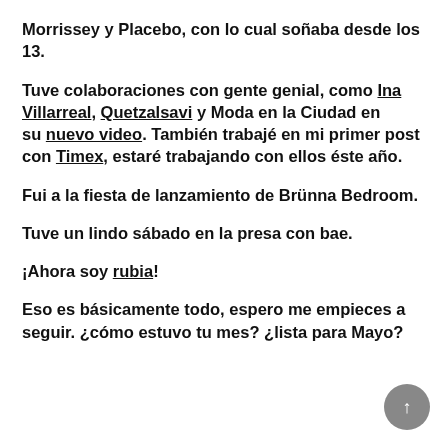Morrissey y Placebo, con lo cual soñaba desde los 13.
Tuve colaboraciones con gente genial, como Ina Villarreal, Quetzalsavi y Moda en la Ciudad en su nuevo video. También trabajé en mi primer post con Timex, estaré trabajando con ellos éste año.
Fui a la fiesta de lanzamiento de Brünna Bedroom.
Tuve un lindo sábado en la presa con bae.
¡Ahora soy rubia!
Eso es básicamente todo, espero me empieces a seguir. ¿cómo estuvo tu mes? ¿lista para Mayo?